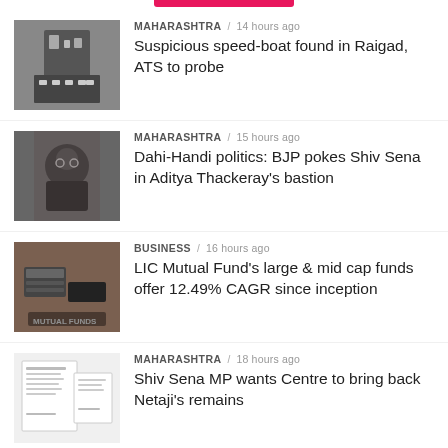MAHARASHTRA / 14 hours ago — Suspicious speed-boat found in Raigad, ATS to probe
MAHARASHTRA / 15 hours ago — Dahi-Handi politics: BJP pokes Shiv Sena in Aditya Thackeray's bastion
BUSINESS / 16 hours ago — LIC Mutual Fund's large & mid cap funds offer 12.49% CAGR since inception
MAHARASHTRA / 18 hours ago — Shiv Sena MP wants Centre to bring back Netaji's remains
GENERAL / 18 hours ago — India logs 12,608 new Covid cases, 72 deaths